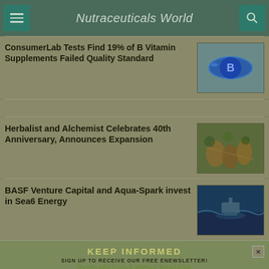Nutraceuticals World
ConsumerLab Tests Find 19% of B Vitamin Supplements Failed Quality Standard
[Figure (photo): Blue capsule pill with letter B on it]
Herbalist and Alchemist Celebrates 40th Anniversary, Announces Expansion
[Figure (photo): Herbal ingredients and rolled cinnamon sticks]
BASF Venture Capital and Aqua-Spark invest in Sea6 Energy
[Figure (photo): Marine/ocean themed image with boat or sea life]
KEEP INFORMED
SIGN UP TO RECEIVE OUR FREE ENEWSLETTER!
NUTRACEUTICALS WORLD MAGAZINE